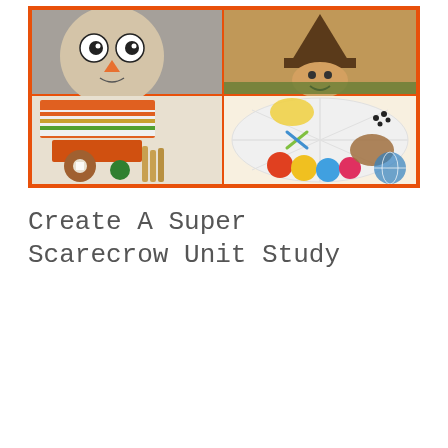[Figure (photo): A collage of four scarecrow and autumn craft activity photos arranged in a 2x2 grid with an orange border. Top left: an owl face craft made from a paper plate. Top right: a scarecrow face craft (brown/tan). Bottom left: orange and striped felt/fabric craft materials laid out on a table. Bottom right: a white divided tray with colorful playdough balls, yellow yarn, scissors, and small black beads for making a scarecrow.]
Create A Super Scarecrow Unit Study